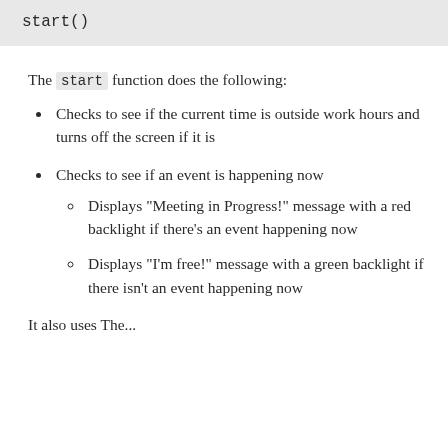[Figure (screenshot): Code block showing: start()]
The start function does the following:
Checks to see if the current time is outside work hours and turns off the screen if it is
Checks to see if an event is happening now
Displays "Meeting in Progress!" message with a red backlight if there's an event happening now
Displays "I'm free!" message with a green backlight if there isn't an event happening now
It also uses The...